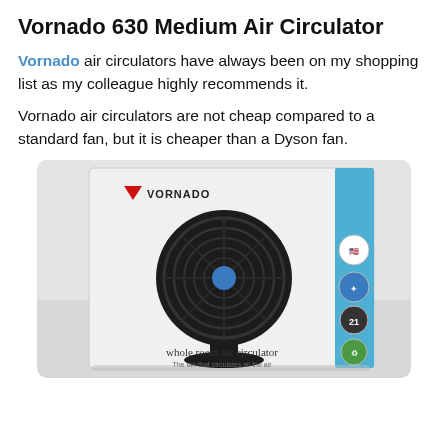Vornado 630 Medium Air Circulator
Vornado air circulators have always been on my shopping list as my colleague highly recommends it.
Vornado air circulators are not cheap compared to a standard fan, but it is cheaper than a Dyson fan.
[Figure (photo): Photo of a Vornado 630 whole room air circulator product box showing the fan, Vornado logo, badges, and text 'whole room air circulator']